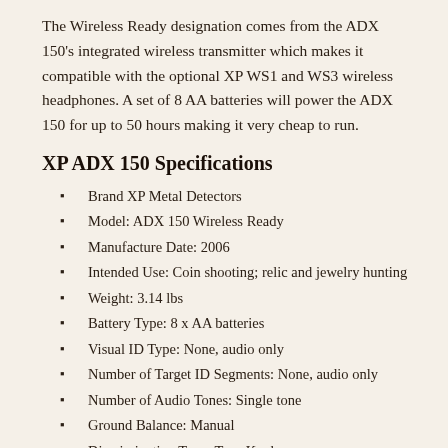The Wireless Ready designation comes from the ADX 150's integrated wireless transmitter which makes it compatible with the optional XP WS1 and WS3 wireless headphones. A set of 8 AA batteries will power the ADX 150 for up to 50 hours making it very cheap to run.
XP ADX 150 Specifications
Brand XP Metal Detectors
Model: ADX 150 Wireless Ready
Manufacture Date: 2006
Intended Use: Coin shooting; relic and jewelry hunting
Weight: 3.14 lbs
Battery Type: 8 x AA batteries
Visual ID Type: None, audio only
Number of Target ID Segments: None, audio only
Number of Audio Tones: Single tone
Ground Balance: Manual
Discrimination Type: Turn Knob
Number of Search Modes: 1; motion All Metal